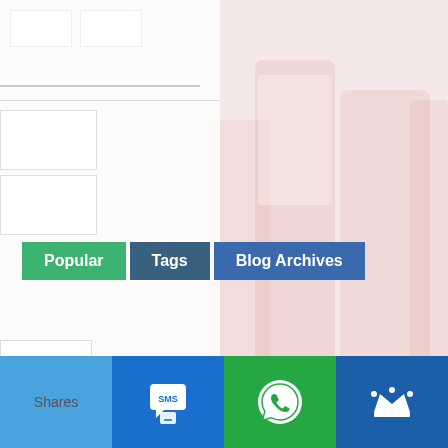[Figure (screenshot): Website screenshot showing a blog sidebar with tabs: Popular, Tags, Blog Archives on a faded phone/keyboard background image]
Popular
Tags
Blog Archives
Shares